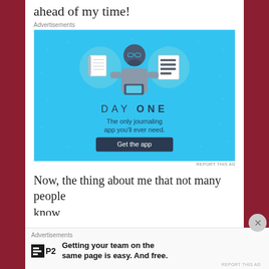ahead of my time!
Advertisements
[Figure (illustration): Day One journaling app advertisement. Blue background with illustrated person holding a smartphone, flanked by circular icons of a notebook and a list. Text: DAY ONE - The only journaling app you'll ever need. Button: Get the app.]
REPORT THIS AD
Now, the thing about me that not many people know
Advertisements
[Figure (illustration): P2 advertisement. P2 logo icon and text: Getting your team on the same page is easy. And free.]
REPORT THIS AD